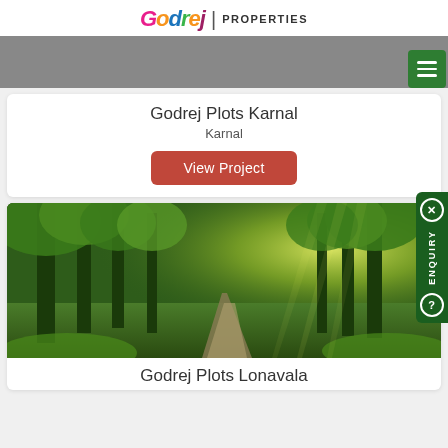[Figure (logo): Godrej Properties logo with colorful stylized text and 'PROPERTIES' in block letters]
[Figure (photo): Grey hero banner image (partial, cropped)]
Godrej Plots Karnal
Karnal
View Project
[Figure (photo): Forest path with sunlight streaming through green trees]
Godrej Plots Lonavala